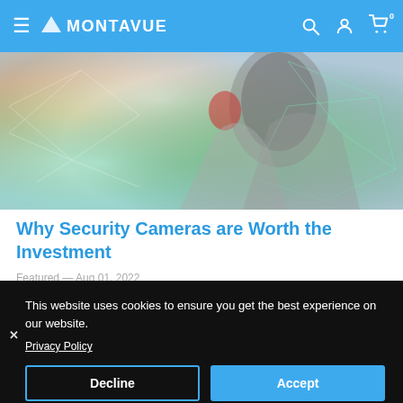MONTAVUE
[Figure (photo): Hero image showing a person in a suit with colorful geometric network overlay pattern]
Why Security Cameras are Worth the Investment
Featured — Aug 01, 2022
This website uses cookies to ensure you get the best experience on our website.
Privacy Policy
Decline
Accept